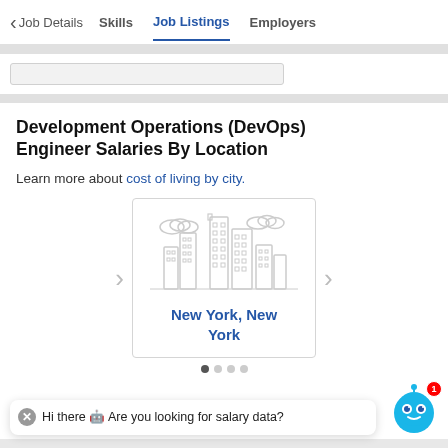< Job Details   Skills   Job Listings   Employers
Development Operations (DevOps) Engineer Salaries By Location
Learn more about cost of living by city.
[Figure (illustration): City skyline illustration with buildings and clouds, showing carousel card for New York, New York location]
Hi there 🤖 Are you looking for salary data?